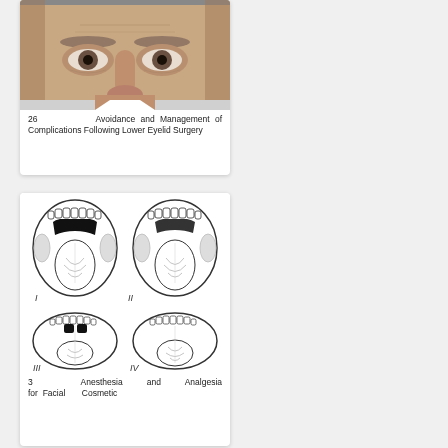[Figure (photo): Close-up photograph of an older man's face, forehead and eyes visible, neutral expression.]
26 Avoidance and Management of Complications Following Lower Eyelid Surgery
[Figure (illustration): Medical illustration showing four diagrams (I, II, III, IV) of an open mouth from below, depicting different views/conditions of the tongue and soft palate region. Diagrams I and II show black shadowed areas indicating soft palate visibility; diagrams III and IV show progressively less shadowing.]
3 Anesthesia and Analgesia for Facial Cosmetic